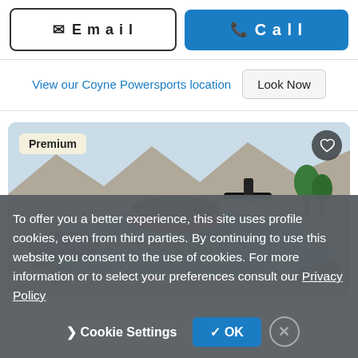Email
Call
View our Coyne Powersports location
Look Now
[Figure (photo): A teal and red Sea-Doo personal watercraft (jet ski) on a trailer in a parking lot, with mountains and trees in the background. A 'Premium' badge is in the upper left corner and a heart/favorite button in the upper right.]
To offer you a better experience, this site uses profile cookies, even from third parties. By continuing to use this website you consent to the use of cookies. For more information or to select your preferences consult our Privacy Policy
Cookie Settings
OK